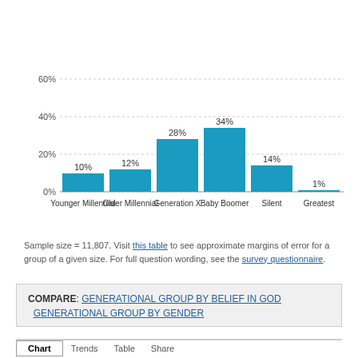[Figure (bar-chart): Generational group distribution]
Sample size = 11,807. Visit this table to see approximate margins of error for a group of a given size. For full question wording, see the survey questionnaire.
COMPARE: GENERATIONAL GROUP BY BELIEF IN GOD   GENERATIONAL GROUP BY GENDER